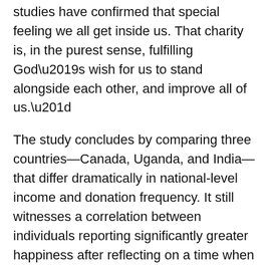studies have confirmed that special feeling we all get inside us. That charity is, in the purest sense, fulfilling God’s wish for us to stand alongside each other, and improve all of us.”
The study concludes by comparing three countries—Canada, Uganda, and India—that differ dramatically in national-level income and donation frequency. It still witnesses a correlation between individuals reporting significantly greater happiness after reflecting on a time when they spent money on others rather than themselves. “In highlighting the potential impact of emotional benefits from prosocial spending,” Amaradio states, “all the research outlines the importance of generosity for human well-being.”